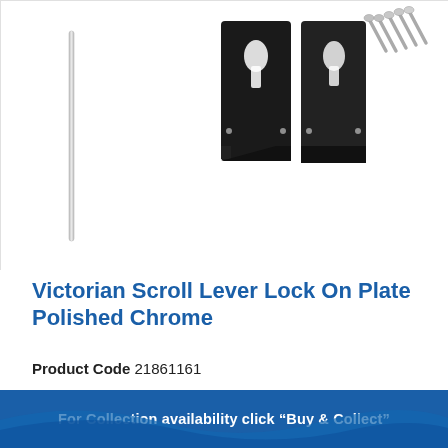[Figure (photo): Product photo showing a Victorian Scroll Lever Lock on Plate in Polished Chrome: a long chrome rod/bar, two black lock plates with keyhole cutouts, and several screws on a white background.]
Victorian Scroll Lever Lock On Plate Polished Chrome
Product Code 21861161
For Collection availability click “Buy & Collect”